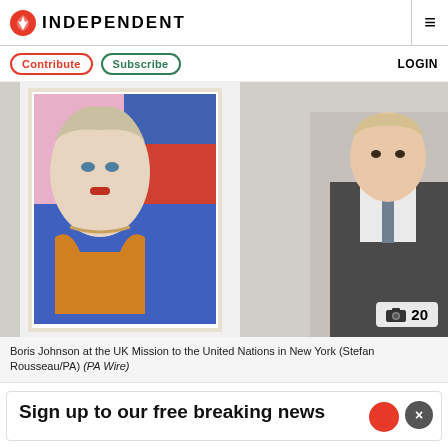INDEPENDENT
Contribute  Subscribe  LOGIN
[Figure (photo): Boris Johnson at the UK Mission to the United Nations in New York, standing beside an Andy Warhol-style pop art portrait of Queen Elizabeth II. A photo badge showing camera icon and '20' appears in bottom right corner.]
Boris Johnson at the UK Mission to the United Nations in New York (Stefan Rousseau/PA) (PA Wire)
Sign up to our free breaking news